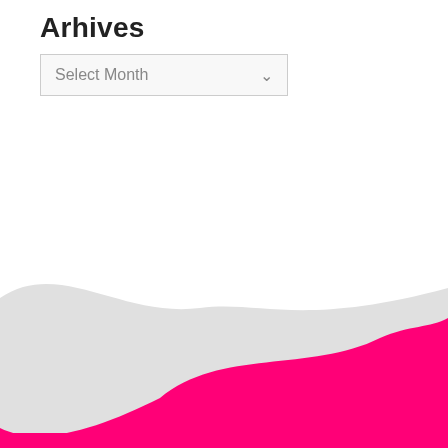Arhives
[Figure (screenshot): A dropdown select box UI element labeled 'Select Month' with a chevron/arrow on the right side, on a light gray background with a border.]
[Figure (illustration): Decorative wave shapes at the bottom of the page: a light gray wave on the left and a vibrant pink/magenta wave on the right, both curving organically across the bottom portion of the page.]